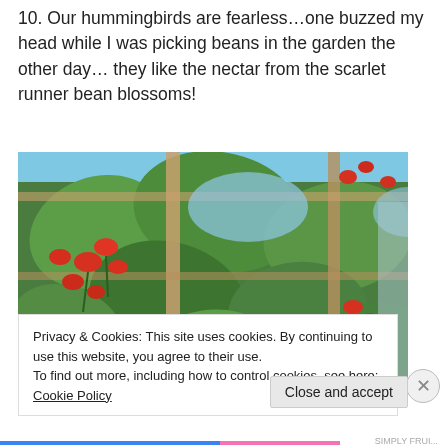10. Our hummingbirds are fearless…one buzzed my head while I was picking beans in the garden the other day… they like the nectar from the scarlet runner bean blossoms!
[Figure (photo): Close-up photo of scarlet runner bean blossoms — bright red flowers among large green leaves on a wooden trellis, with blue sky visible in the background.]
Privacy & Cookies: This site uses cookies. By continuing to use this website, you agree to their use.
To find out more, including how to control cookies, see here: Cookie Policy
Close and accept